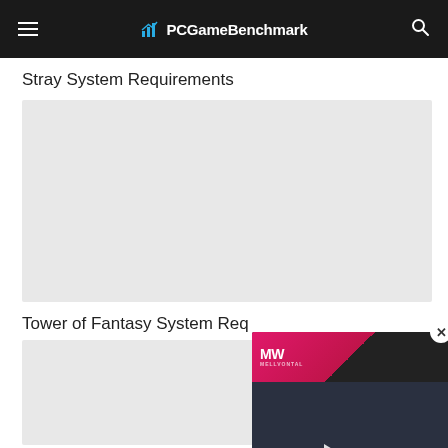PCGameBenchmark
Stray System Requirements
[Figure (other): Gray placeholder content area for Stray System Requirements]
Tower of Fantasy System Requirements
[Figure (other): Gray placeholder content area for Tower of Fantasy System Requirements]
[Figure (other): Video overlay popup with MW logo, play button, dark game scene, and text: BEST ZOMBIE GAMES]